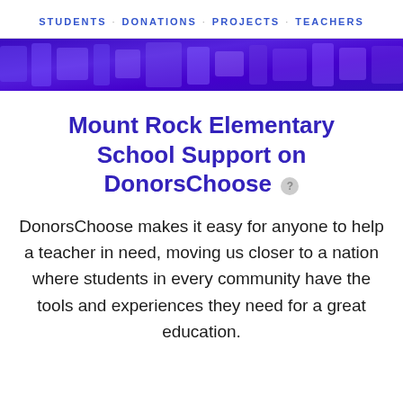STUDENTS · DONATIONS · PROJECTS · TEACHERS
[Figure (photo): Purple/indigo decorative banner strip with abstract pattern]
Mount Rock Elementary School Support on DonorsChoose
DonorsChoose makes it easy for anyone to help a teacher in need, moving us closer to a nation where students in every community have the tools and experiences they need for a great education.